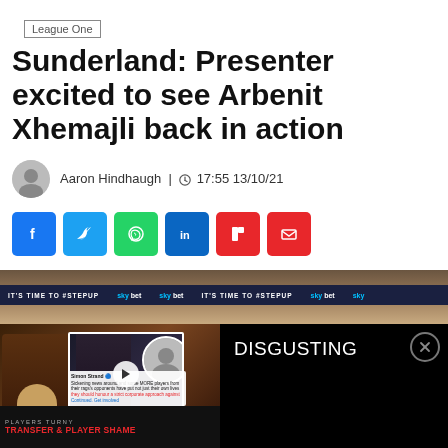League One
Sunderland: Presenter excited to see Arbenit Xhemajli back in action
Aaron Hindhaugh | 17:55 13/10/21
[Figure (infographic): Social media sharing buttons: Facebook, Twitter, WhatsApp, LinkedIn, Flipboard, Email]
[Figure (screenshot): Video thumbnail showing a presenter and man in suit with text DISGUSTING, lower bar reads PLAYERS TURNY TRANSFER & PLAYER SHAME against a stadium background with Sky Bet banners]